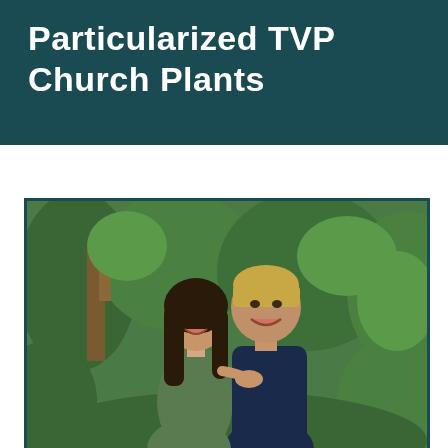Particularized TVP Church Plants
[Figure (photo): A smiling couple standing outdoors in front of lush green foliage and trees. The woman has long dark hair and is wearing a dark olive/green sleeveless top, standing slightly in front of and to the left. The man has short blond hair and is wearing a dark navy blue t-shirt, smiling broadly. The woman has her hand on the man's chest.]